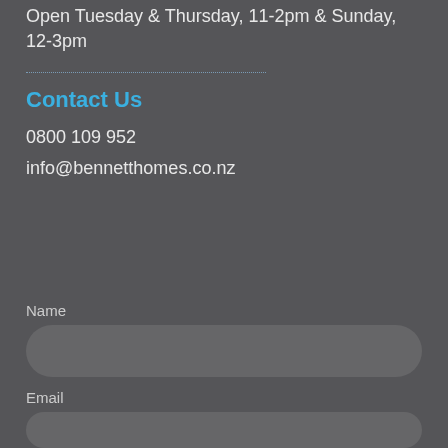Open Tuesday & Thursday, 11-2pm & Sunday, 12-3pm
Contact Us
0800 109 952
info@bennetthomes.co.nz
Name
Email